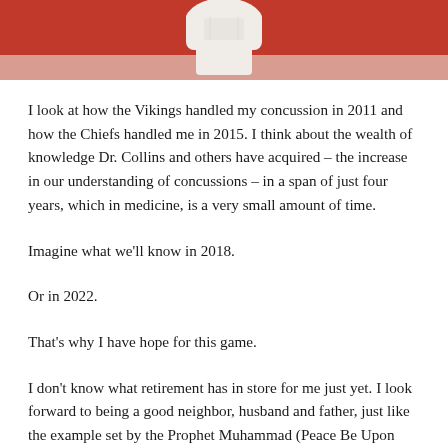[Figure (photo): Top portion of a person in white clothing/uniform against a red and light background, partially cropped]
I look at how the Vikings handled my concussion in 2011 and how the Chiefs handled me in 2015. I think about the wealth of knowledge Dr. Collins and others have acquired – the increase in our understanding of concussions – in a span of just four years, which in medicine, is a very small amount of time.
Imagine what we'll know in 2018.
Or in 2022.
That's why I have hope for this game.
I don't know what retirement has in store for me just yet. I look forward to being a good neighbor, husband and father, just like the example set by the Prophet Muhammad (Peace Be Upon Him). I look forward to being a benefit to society.